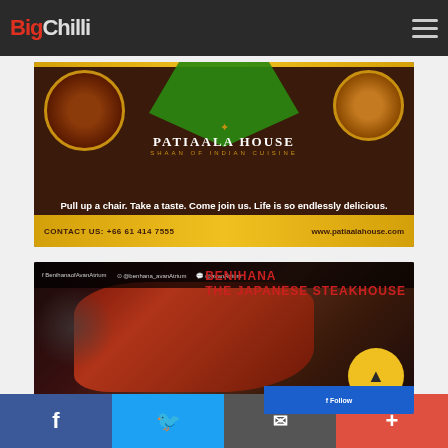BigChilli - navigation header
[Figure (illustration): Patiaala House Indian restaurant advertisement. Shows two dishes in circular frames on dark brown background with green leaf motif. Text: 'PATIAALA HOUSE - SHAAN OF INDIAN CUISINE'. Tagline: 'Pull up a chair. Take a taste. Come join us. Life is so endlessly delicious.' Gold bottom bar with 'CONTACT US: +66 61 414 7555' and 'www.patiaalahouse.com']
[Figure (illustration): Benihana The Japanese Steakhouse advertisement. Dark background with raw beef/steak image and spices. Social media handles at top: BenihanaofAvanAtrium, @benhana_avanAtrium, @avanAtrium. Red BENIHANA logo top right. Yellow circle button with up arrow. Blue button at bottom right.]
Social share bar: Facebook, Twitter, Email/Share, Plus